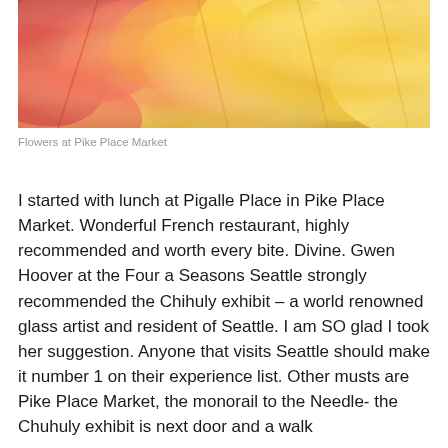[Figure (photo): Close-up photo of red and yellow flowers at Pike Place Market, showing colorful petals in shades of red, orange, and yellow]
Flowers at Pike Place Market
I started with lunch at Pigalle Place in Pike Place Market. Wonderful French restaurant, highly recommended and worth every bite. Divine. Gwen Hoover at the Four a Seasons Seattle strongly recommended the Chihuly exhibit – a world renowned glass artist and resident of Seattle. I am SO glad I took her suggestion. Anyone that visits Seattle should make it number 1 on their experience list. Other musts are Pike Place Market, the monorail to the Needle- the Chuhuly exhibit is next door and a walk